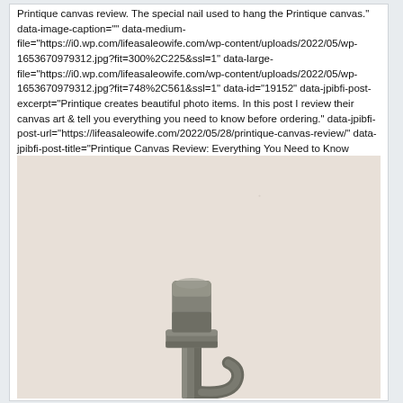Printique canvas review. The special nail used to hang the Printique canvas." data-image-caption="" data-medium-file="https://i0.wp.com/lifeasaleowife.com/wp-content/uploads/2022/05/wp-1653670979312.jpg?fit=300%2C225&ssl=1" data-large-file="https://i0.wp.com/lifeasaleowife.com/wp-content/uploads/2022/05/wp-1653670979312.jpg?fit=748%2C561&ssl=1" data-id="19152" data-jpibfi-post-excerpt="Printique creates beautiful photo items. In this post I review their canvas art & tell you everything you need to know before ordering." data-jpibfi-post-url="https://lifeasaleowife.com/2022/05/28/printique-canvas-review/" data-jpibfi-post-title="Printique Canvas Review: Everything You Need to Know Before Ordering" data-jpibfi-src="https://i0.wp.com/lifeasaleowife.com/wp-content/uploads/2022/05/wp-1653670979312.jpg?resize=748%2C561&ssl=1" data-recalc-dims="1" />
[Figure (photo): A close-up photograph of a special metal nail/hook used to hang a Printique canvas, shown against a light beige/cream background. The nail is metallic gray with a curved hook shape visible at the bottom of the frame.]